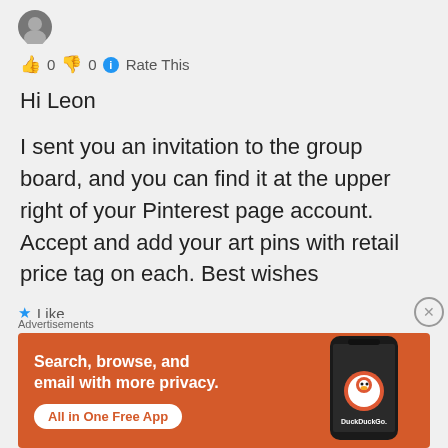[Figure (photo): User avatar circular profile image]
👍 0 👎 0 ℹ Rate This
Hi Leon

I sent you an invitation to the group board, and you can find it at the upper right of your Pinterest page account. Accept and add your art pins with retail price tag on each.
Best wishes
★ Like
Advertisements
[Figure (screenshot): DuckDuckGo advertisement banner: 'Search, browse, and email with more privacy. All in One Free App' with phone image showing DuckDuckGo app]